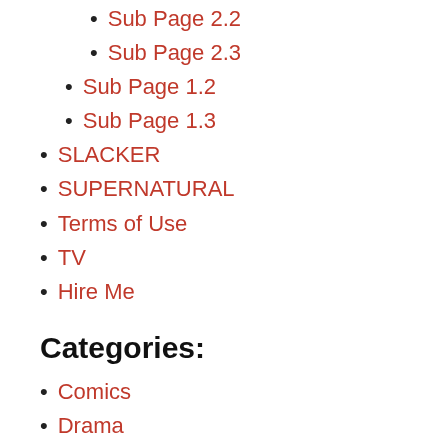Sub Page 2.2
Sub Page 2.3
Sub Page 1.2
Sub Page 1.3
SLACKER
SUPERNATURAL
Terms of Use
TV
Hire Me
Categories:
Comics
Drama
Freaky
Lists
MYSTERY
Mystery